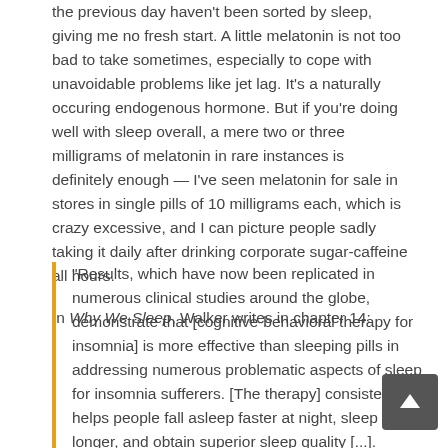the previous day haven't been sorted by sleep, giving me no fresh start. A little melatonin is not too bad to take sometimes, especially to cope with unavoidable problems like jet lag. It's a naturally occuring endogenous hormone. But if you're doing well with sleep overall, a mere two or three milligrams of melatonin in rare instances is definitely enough — I've seen melatonin for sale in stores in single pills of 10 milligrams each, which is crazy excessive, and I can picture people sadly taking it daily after drinking corporate sugar-caffeine all hours.
In Why We Sleep, Walker writes in chapter 14:
“Results, which have now been replicated in numerous clinical studies around the globe, demonstrate that [cognitive-behavioral therapy for insomnia] is more effective than sleeping pills in addressing numerous problematic aspects of sleep for insomnia sufferers. [The therapy] consistently helps people fall asleep faster at night, sleep longer, and obtain superior sleep quality [...]. More importantly, the benefits of [the therapy] persist long term, even after patients stop working with their